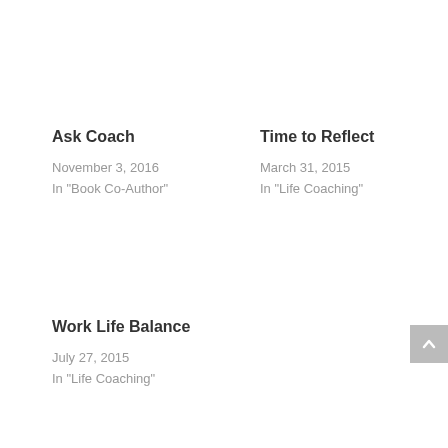Ask Coach
November 3, 2016
In "Book Co-Author"
Time to Reflect
March 31, 2015
In "Life Coaching"
Work Life Balance
July 27, 2015
In "Life Coaching"